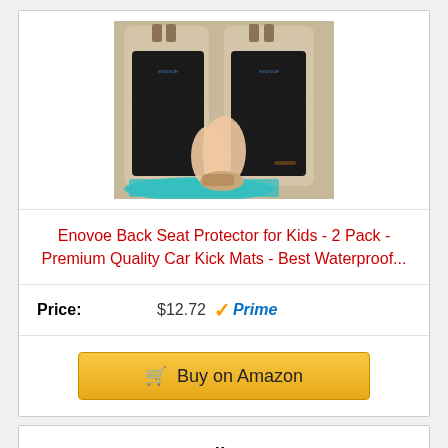[Figure (photo): Product photo showing two black car seat back protectors/kick mats installed on vehicle front seats, with a child's feet visible kicking against them. Teal/turquoise car mat visible on floor.]
Enovoe Back Seat Protector for Kids - 2 Pack - Premium Quality Car Kick Mats - Best Waterproof...
Price: $12.72 ✓Prime
Buy on Amazon
Bestseller No. 2